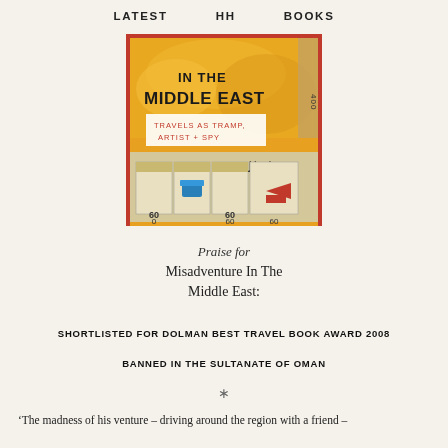LATEST   HH   BOOKS
[Figure (photo): Book cover of 'Misadventure In The Middle East: Travels as Tramp, Artist + Spy' featuring a Monopoly-style board game design with Arabic text and yellow painted background]
Praise for
Misadventure In The Middle East:
SHORTLISTED FOR DOLMAN BEST TRAVEL BOOK AWARD 2008
BANNED IN THE SULTANATE OF OMAN
*
‘The madness of his venture – driving around the region with a friend –